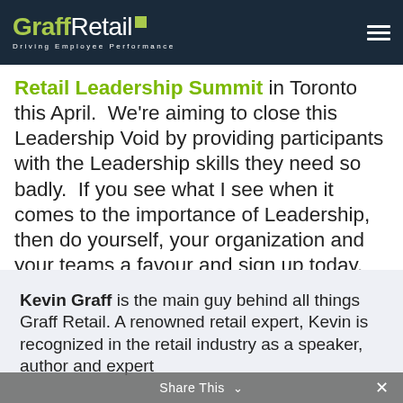[Figure (logo): GraffRetail logo with green square accent and tagline 'Driving Employee Performance' on dark navy background, with hamburger menu icon on right]
Retail Leadership Summit in Toronto this April.  We're aiming to close this Leadership Void by providing participants with the Leadership skills they need so badly.  If you see what I see when it comes to the importance of Leadership, then do yourself, your organization and your teams a favour and sign up today.
Kevin Graff is the main guy behind all things Graff Retail. A renowned retail expert, Kevin is recognized in the retail industry as a speaker, author and expert
Share This ×